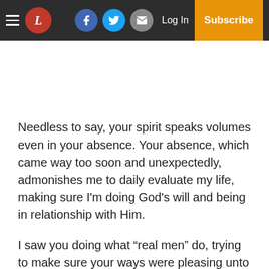L [newspaper logo] | Facebook | Twitter | Email | Log In | Subscribe
Needless to say, your spirit speaks volumes even in your absence. Your absence, which came way too soon and unexpectedly, admonishes me to daily evaluate my life, making sure I’m doing God’s will and being in relationship with Him.
I saw you doing what “real men” do, trying to make sure your ways were pleasing unto the Lord. And